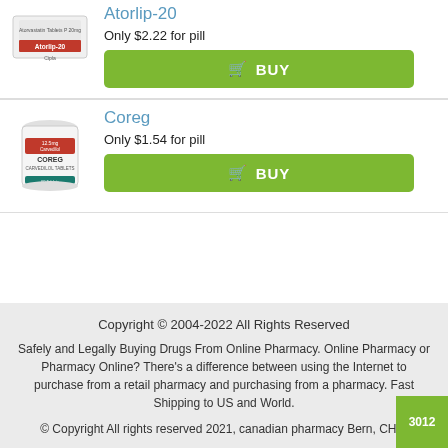Atorlip-20
Only $2.22 for pill
[Figure (photo): Atorlip-20 atorvastatin tablets box product image]
Coreg
Only $1.54 for pill
[Figure (photo): Coreg carvedilol tablets bottle product image]
Copyright © 2004-2022 All Rights Reserved
Safely and Legally Buying Drugs From Online Pharmacy. Online Pharmacy or Pharmacy Online? There's a difference between using the Internet to purchase from a retail pharmacy and purchasing from a pharmacy. Fast Shipping to US and World.
© Copyright All rights reserved 2021, canadian pharmacy Bern, CHE.